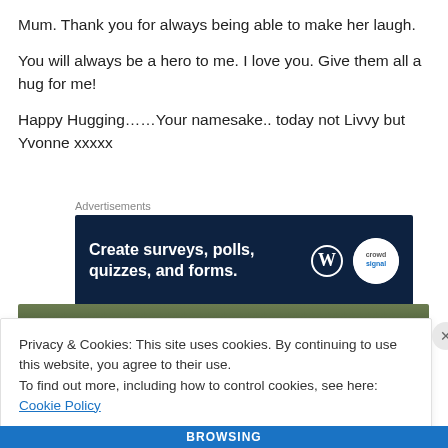Mum.  Thank you for always being able to make her laugh.
You will always be a hero to me.  I love you.  Give them all a hug for me!
Happy Hugging……Your namesake.. today not Livvy but Yvonne xxxxx
[Figure (screenshot): Advertisement banner: dark navy background with text 'Create surveys, polls, quizzes, and forms.' with WordPress logo and CrowdSignal badge]
[Figure (photo): Partial photo of outdoor scene with foliage, partially obscured by cookie consent overlay]
Privacy & Cookies: This site uses cookies. By continuing to use this website, you agree to their use.
To find out more, including how to control cookies, see here: Cookie Policy
Close and accept